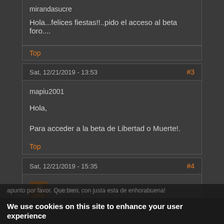mirandasucre
Hola...felices fiestas!!..pido el acceso al beta foro....
Top
Sat, 12/21/2019 - 13:53
#3
mapiu2001
Hola,
Para acceder a la beta de Libertad o Muerte!.
Top
Sat, 12/21/2019 - 15:35
#4
Petermil
We use cookies on this site to enhance your user experience